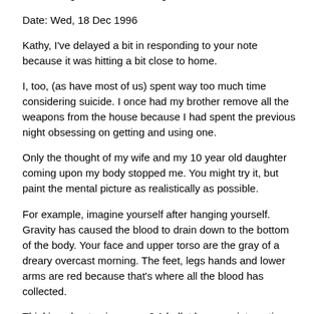her to hang in there a little longer.
Date: Wed, 18 Dec 1996
Kathy, I've delayed a bit in responding to your note because it was hitting a bit close to home.
I, too, (as have most of us) spent way too much time considering suicide. I once had my brother remove all the weapons from the house because I had spent the previous night obsessing on getting and using one.
Only the thought of my wife and my 10 year old daughter coming upon my body stopped me. You might try it, but paint the mental picture as realistically as possible.
For example, imagine yourself after hanging yourself. Gravity has caused the blood to drain down to the bottom of the body. Your face and upper torso are the gray of a dreary overcast morning. The feet, legs hands and lower arms are red because that's where all the blood has collected.
Thinking about using a gun? A bullet has very interesting